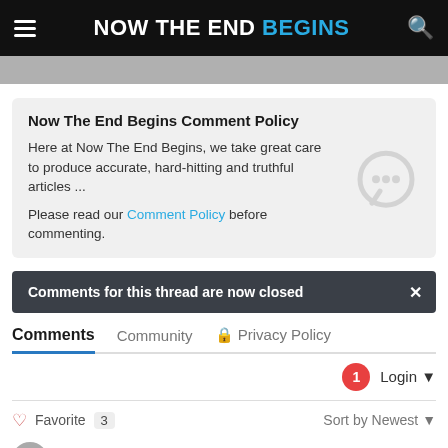NOW THE END BEGINS
Now The End Begins Comment Policy
Here at Now The End Begins, we take great care to produce accurate, hard-hitting and truthful articles ...
Please read our Comment Policy before commenting.
Comments for this thread are now closed
Comments   Community   Privacy Policy
Login
Favorite  3   Sort by Newest